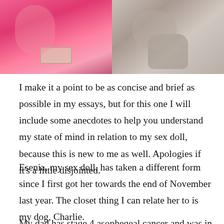[Figure (photo): Two photos side by side at the top: left shows a person in a pink outfit with a decorative belt/accessory, right shows a stuffed animal or similar plush object on a surface.]
I make it a point to be as concise and brief as possible in my essays, but for this one I will include some anecdotes to help you understand my state of mind in relation to my sex doll, because this is new to me as well. Apologies if it’s a little disjointed.
Esenia, my sex doll, has taken a different form since I first got her towards the end of November last year. The closet thing I can relate her to is my dog, Charlie.
My dad has stage 4 asophegeal cancer and was in a